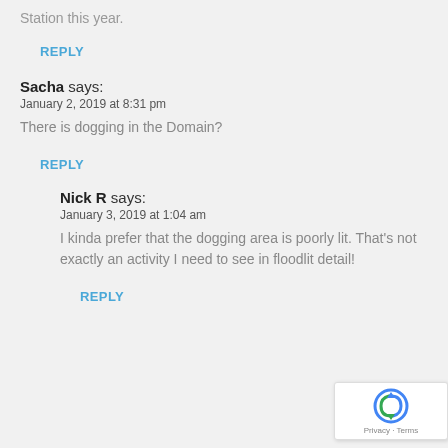Station this year.
REPLY
Sacha says:
January 2, 2019 at 8:31 pm
There is dogging in the Domain?
REPLY
Nick R says:
January 3, 2019 at 1:04 am
I kinda prefer that the dogging area is poorly lit. That's not exactly an activity I need to see in floodlit detail!
REPLY